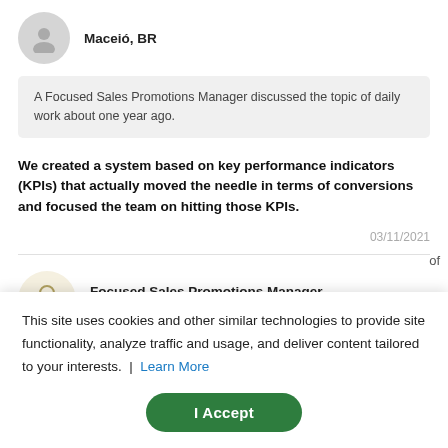Maceió, BR
A Focused Sales Promotions Manager discussed the topic of daily work about one year ago.
We created a system based on key performance indicators (KPIs) that actually moved the needle in terms of conversions and focused the team on hitting those KPIs.
03/11/2021
Focused Sales Promotions Manager
London, UK
This site uses cookies and other similar technologies to provide site functionality, analyze traffic and usage, and deliver content tailored to your interests. | Learn More
I Accept